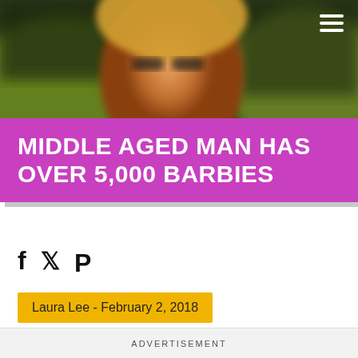[Figure (photo): Blurred close-up photo of a middle-aged person with blonde hair against a green background, used as hero image]
MIDDLE AGED MAN HAS OVER 5,000 BARBIES
Social share icons: Facebook, Twitter, Pinterest
Laura Lee - February 2, 2018
ADVERTISEMENT